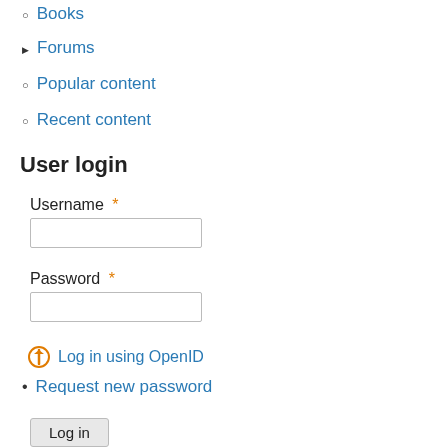Books
Forums
Popular content
Recent content
User login
Username *
Password *
Log in using OpenID
Request new password
Log in